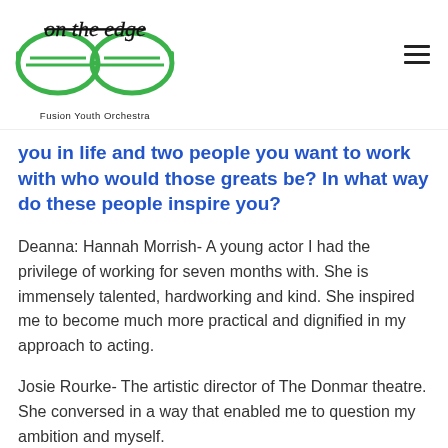on the edge — Fusion Youth Orchestra
you in life and two people you want to work with who would those greats be? In what way do these people inspire you?
Deanna: Hannah Morrish- A young actor I had the privilege of working for seven months with. She is immensely talented, hardworking and kind. She inspired me to become much more practical and dignified in my approach to acting.
Josie Rourke- The artistic director of The Donmar theatre. She conversed in a way that enabled me to question my ambition and myself.